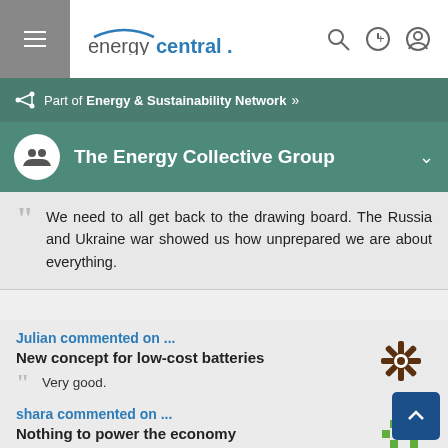energycentral.
Part of Energy & Sustainability Network »
The Energy Collective Group
We need to all get back to the drawing board. The Russia and Ukraine war showed us how unprepared we are about everything.
Julian commented on ...
New concept for low-cost batteries
"Very good."
shara commented on ...
Nothing to power the economy
"A strong economy is a key component to any successful country."